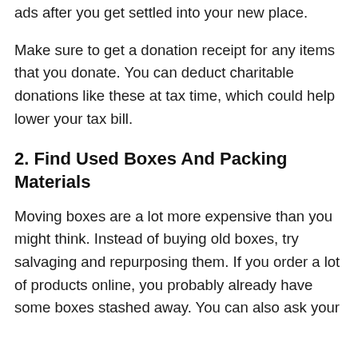ads after you get settled into your new place.
Make sure to get a donation receipt for any items that you donate. You can deduct charitable donations like these at tax time, which could help lower your tax bill.
2. Find Used Boxes And Packing Materials
Moving boxes are a lot more expensive than you might think. Instead of buying old boxes, try salvaging and repurposing them. If you order a lot of products online, you probably already have some boxes stashed away. You can also ask your